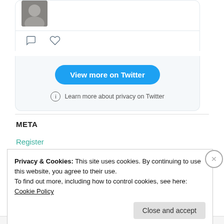[Figure (screenshot): Twitter widget showing a profile image thumbnail, action icons (comment and like), a 'View more on Twitter' blue button, and a 'Learn more about privacy on Twitter' info note on a light grey background.]
META
Register
Privacy & Cookies: This site uses cookies. By continuing to use this website, you agree to their use.
To find out more, including how to control cookies, see here: Cookie Policy
Close and accept